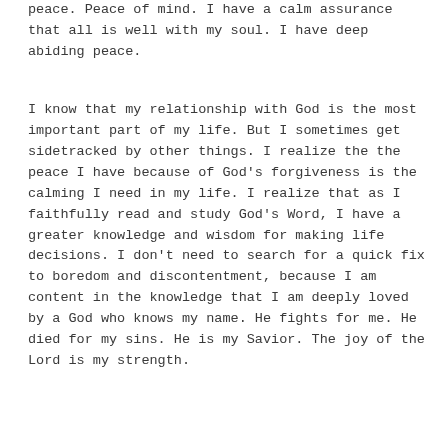peace. Peace of mind. I have a calm assurance that all is well with my soul. I have deep abiding peace.
I know that my relationship with God is the most important part of my life. But I sometimes get sidetracked by other things. I realize the the peace I have because of God's forgiveness is the calming I need in my life. I realize that as I faithfully read and study God's Word, I have a greater knowledge and wisdom for making life decisions. I don't need to search for a quick fix to boredom and discontentment, because I am content in the knowledge that I am deeply loved by a God who knows my name. He fights for me. He died for my sins. He is my Savior. The joy of the Lord is my strength.